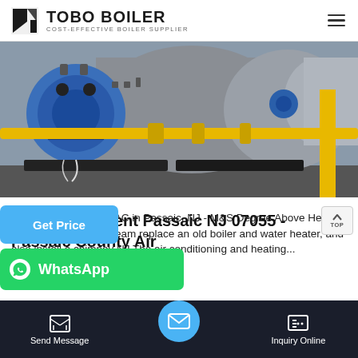TOBO BOILER - COST-EFFECTIVE BOILER SUPPLIER
[Figure (photo): Industrial boiler equipment with blue burner unit on left, large grey cylindrical tank in center, yellow gas pipe running horizontally, blue valve on right, and yellow vertical pipe.]
AC Replacement Passaic NJ 07055 - Passaic County Air
& Air Conditioning/HVAC in Passaic, NJ - M&S Degree Above Heating We had Tom and his team replace an old boiler and water heater, and also install a chimney NJ The air conditioning and heating...
Send Message | Inquiry Online